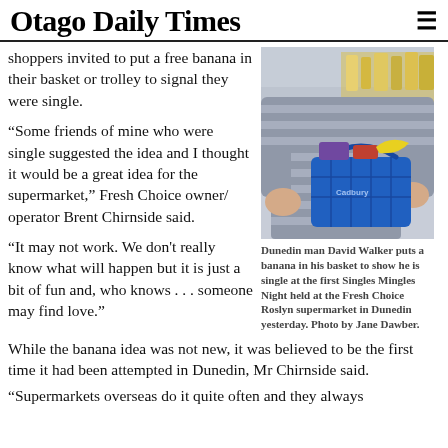Otago Daily Times
shoppers invited to put a free banana in their basket or trolley to signal they were single.
[Figure (photo): Dunedin man David Walker holding a blue shopping basket with items inside, wearing a grey striped sweater, photographed in a supermarket.]
Dunedin man David Walker puts a banana in his basket to show he is single at the first Singles Mingles Night held at the Fresh Choice Roslyn supermarket in Dunedin yesterday. Photo by Jane Dawber.
"Some friends of mine who were single suggested the idea and I thought it would be a great idea for the supermarket," Fresh Choice owner/ operator Brent Chirnside said.
"It may not work. We don't really know what will happen but it is just a bit of fun and, who knows . . . someone may find love."
While the banana idea was not new, it was believed to be the first time it had been attempted in Dunedin, Mr Chirnside said.
"Supermarkets overseas do it quite often and they always